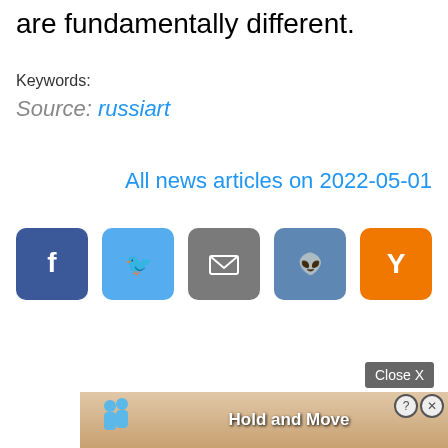are fundamentally different.
Keywords:
Source: russiart
All news articles on 2022-05-01
[Figure (other): Social sharing buttons: Facebook, Twitter, Email, Reddit, Hacker News (Y)]
Close X
[Figure (other): Ad banner showing animated figures with text 'Hold and Move']